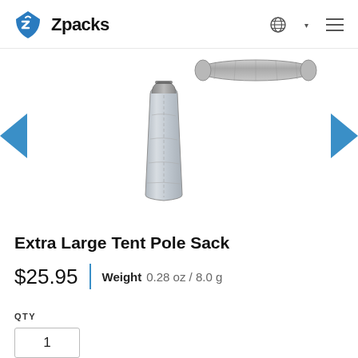Zpacks
[Figure (photo): Extra Large Tent Pole Sack product images: a horizontal rolled sack thumbnail at top, and a vertical standing sack as the main image, with left and right navigation arrows]
Extra Large Tent Pole Sack
$25.95  |  Weight  0.28 oz / 8.0 g
QTY
1